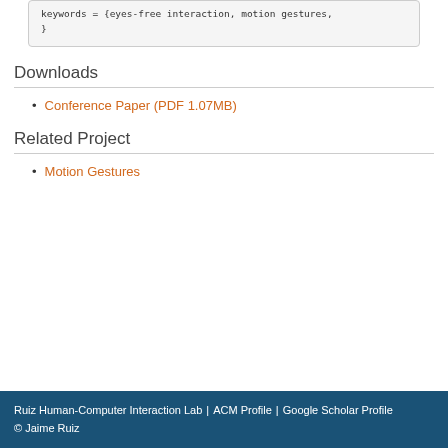keywords = {eyes-free interaction, motion gestures,
}
Downloads
Conference Paper (PDF 1.07MB)
Related Project
Motion Gestures
Ruiz Human-Computer Interaction Lab | ACM Profile | Google Scholar Profile
© Jaime Ruiz